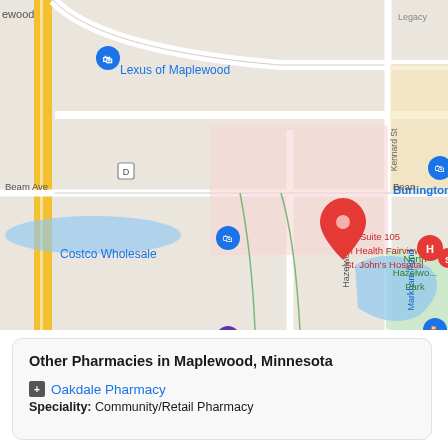[Figure (map): Google Maps view of Maplewood, Minnesota area showing locations including Lexus of Maplewood, Costco Wholesale, Costco Gas Station, Suite 105 M Health Fairview St. John's Hospital, Burlington, Olive Garden Italian Restaurant, Community Dental Care - Maplewood, Markham Pond, North Hazelwood Park, and Hazelwood St street label. Roads visible include Woodlynn Ave, Kennard St, Beam Ave, and Hazelwood St.]
Other Pharmacies in Maplewood, Minnesota
Oakdale Pharmacy
Speciality: Community/Retail Pharmacy